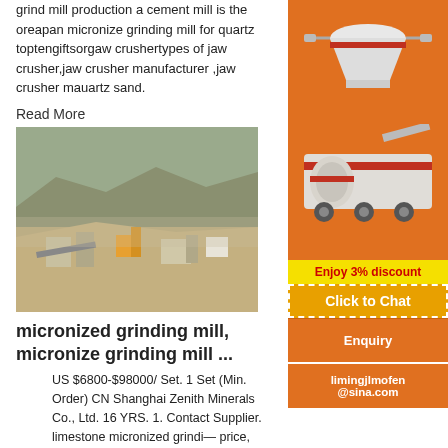grind mill production a cement mill is the oreapan micronize grinding mill for quartz toptengiftsorgaw crushertypes of jaw crusher,jaw crusher manufacturer ,jaw crusher mauartz sand.
Read More
[Figure (photo): Aerial view of an open mining site with equipment, conveyors, and earthworks in a dusty landscape.]
micronized grinding mill, micronize grinding mill ...
US $6800-$98000/ Set. 1 Set (Min. Order) CN Shanghai Zenith Minerals Co., Ltd. 16 YRS. 1. Contact Supplier. limestone micronized grinding mill price, limestone micronized grinding mill price. Zenith XZM limestone micronized grinding mill widely used in making fine powder or micro powder, a new kind of machine for producing.
[Figure (infographic): Orange sidebar advertisement showing industrial crushing/grinding machinery images, a yellow Enjoy 3% discount banner, a Click to Chat button, an Enquiry section, and email limingjlmofen@sina.com.]